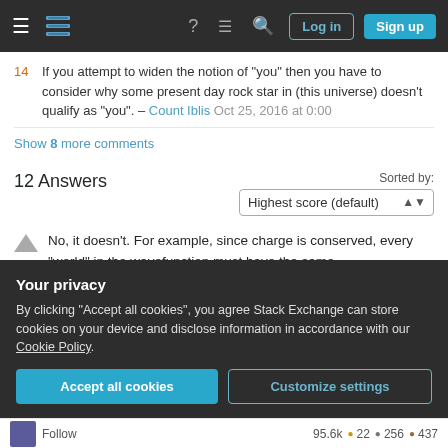Stack Exchange navigation bar with Log in and Sign up buttons
14  If you attempt to widen the notion of "you" then you have to consider why some present day rock star in (this universe) doesn't qualify as "you". – Count Iblis Oct 25, 2016 at 0:00
Show 8 more comments
12 Answers
Sorted by: Highest score (default)
No, it doesn't. For example, since charge is conserved, every "world" in the wavefunction must have the same
Your privacy
By clicking "Accept all cookies", you agree Stack Exchange can store cookies on your device and disclose information in accordance with our Cookie Policy.
Accept all cookies  Customize settings
Follow   95.6k  22  256  437